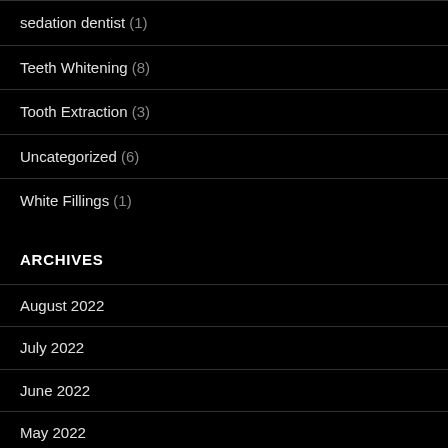sedation dentist (1)
Teeth Whitening (8)
Tooth Extraction (3)
Uncategorized (6)
White Fillings (1)
ARCHIVES
August 2022
July 2022
June 2022
May 2022
April 2022